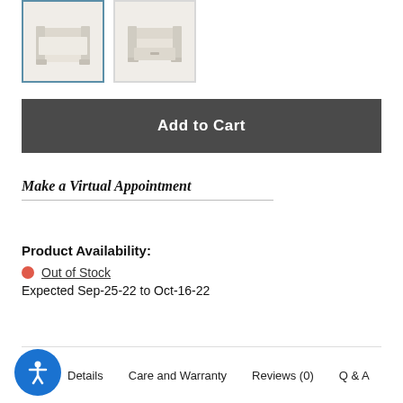[Figure (photo): Two thumbnail images of a bed frame/storage bed in light beige/cream color. First thumbnail has a blue border (selected), second has a grey border.]
Add to Cart
Make a Virtual Appointment
Product Availability:
Out of Stock
Expected Sep-25-22 to Oct-16-22
Details   Care and Warranty   Reviews (0)   Q & A